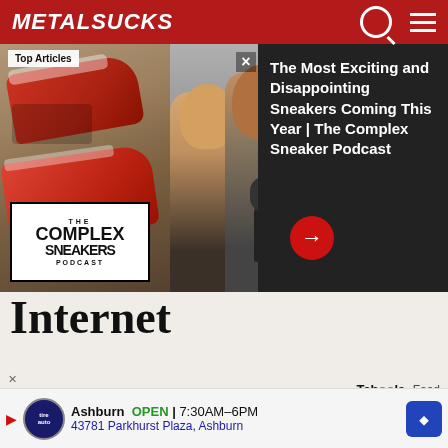METALSUCKS
[Figure (screenshot): Advertisement overlay showing The Complex Sneakers Podcast with three men at microphones and sneaker images on left, with text panel on right]
Top Articles
The Most Exciting and Disappointing Sneakers Coming This Year | The Complex Sneaker Podcast
Internet
Taboola Feed
[Figure (photo): Photo of an outdoor wall light fixture mounted on a stone/stucco wall]
Ashburn OPEN | 7:30AM–6PM
43781 Parkhurst Plaza, Ashburn